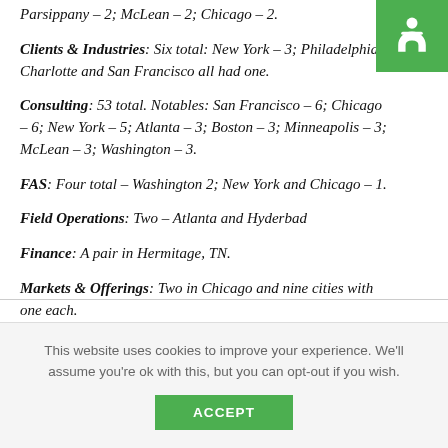Parsippany – 2; McLean – 2; Chicago – 2.
Clients & Industries: Six total: New York – 3; Philadelphia, Charlotte and San Francisco all had one.
Consulting: 53 total. Notables: San Francisco – 6; Chicago – 6; New York – 5; Atlanta – 3; Boston – 3; Minneapolis – 3; McLean – 3; Washington – 3.
FAS: Four total – Washington 2; New York and Chicago – 1.
Field Operations: Two – Atlanta and Hyderbad
Finance: A pair in Hermitage, TN.
Markets & Offerings: Two in Chicago and nine cities with one each.
This website uses cookies to improve your experience. We'll assume you're ok with this, but you can opt-out if you wish.